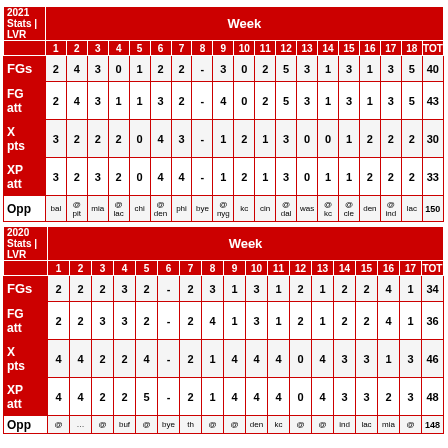| 2021 Stats | LVR | Week | 1 | 2 | 3 | 4 | 5 | 6 | 7 | 8 | 9 | 10 | 11 | 12 | 13 | 14 | 15 | 16 | 17 | 18 | TOT |
| --- | --- | --- | --- | --- | --- | --- | --- | --- | --- | --- | --- | --- | --- | --- | --- | --- | --- | --- | --- | --- |
| FGs | 2 | 4 | 3 | 0 | 1 | 2 | 2 | - | 3 | 0 | 2 | 5 | 3 | 1 | 3 | 1 | 3 | 5 | 40 |
| FG att | 2 | 4 | 3 | 1 | 1 | 3 | 2 | - | 4 | 0 | 2 | 5 | 3 | 1 | 3 | 1 | 3 | 5 | 43 |
| X pts | 3 | 2 | 2 | 2 | 0 | 4 | 3 | - | 1 | 2 | 1 | 3 | 0 | 0 | 1 | 2 | 2 | 2 | 30 |
| XP att | 3 | 2 | 3 | 2 | 0 | 4 | 4 | - | 1 | 2 | 1 | 3 | 0 | 1 | 1 | 2 | 2 | 2 | 33 |
| Opp | bal | @pit | mia | @lac | chi | @den | phi | bye | @nyg | kc | cin | @dal | was | @kc | @cle | den | @ind | lac | 150 |
| 2020 Stats | LVR | Week | 1 | 2 | 3 | 4 | 5 | 6 | 7 | 8 | 9 | 10 | 11 | 12 | 13 | 14 | 15 | 16 | 17 | TOT |
| --- | --- | --- | --- | --- | --- | --- | --- | --- | --- | --- | --- | --- | --- | --- | --- | --- | --- | --- | --- |
| FGs | 2 | 2 | 2 | 3 | 2 | - | 2 | 3 | 1 | 3 | 1 | 2 | 1 | 2 | 2 | 4 | 1 | 34 |
| FG att | 2 | 2 | 3 | 3 | 2 | - | 2 | 4 | 1 | 3 | 1 | 2 | 1 | 2 | 2 | 4 | 1 | 36 |
| X pts | 4 | 4 | 2 | 2 | 4 | - | 2 | 1 | 4 | 4 | 4 | 0 | 4 | 3 | 3 | 1 | 3 | 46 |
| XP att | 4 | 4 | 2 | 2 | 5 | - | 2 | 1 | 4 | 4 | 4 | 0 | 4 | 3 | 3 | 2 | 3 | 48 |
| Opp | @… | … | @… | buf | @… | bye | th | @… | @… | den | kc | @… | @… | ind | lac | mia | @… | 148 |